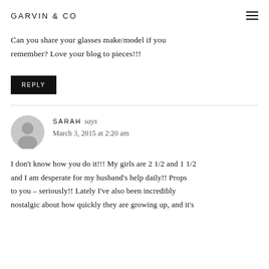GARVIN & CO
Can you share your glasses make/model if you remember? Love your blog to pieces!!!
REPLY
SARAH says
March 3, 2015 at 2:20 am
I don't know how you do it!!! My girls are 2 1/2 and 1 1/2 and I am desperate for my husband's help daily!! Props to you – seriously!! Lately I've also been incredibly nostalgic about how quickly they are growing up, and it's